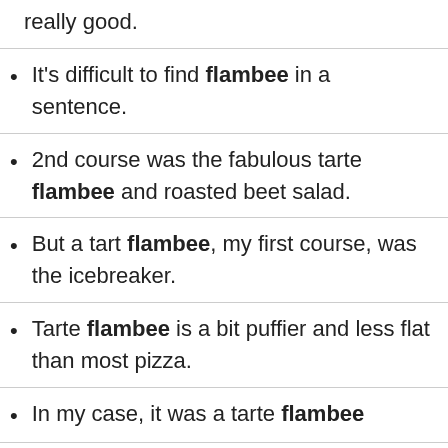really good.
It's difficult to find flambee in a sentence.
2nd course was the fabulous tarte flambee and roasted beet salad.
But a tart flambee, my first course, was the icebreaker.
Tarte flambee is a bit puffier and less flat than most pizza.
In my case, it was a tarte flambee